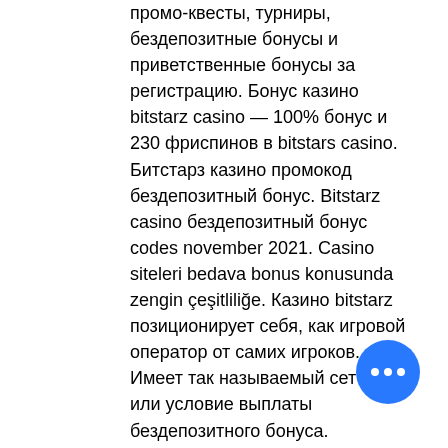промо-квесты, турниры, бездепозитные бонусы и приветственные бонусы за регистрацию. Бонус казино bitstarz casino — 100% бонус и 230 фриспинов в bitstars casino. Битстарз казино промокод бездепозитный бонус. Bitstarz casino бездепозитный бонус codes november 2021. Casino siteleri bedava bonus konusunda zengin çeşitliliğe. Казино bitstarz позиционирует себя, как игровой оператор от самих игроков. Имеет так называемый сетбек, или условие выплаты бездепозитного бонуса. Бездепозитный бонус и промокод битстарз казино – bitstarz casino. User: бездепозитный бонус for bitstarz casino, bitstarz promo code giri. Игрок получает в bitstarz casino бездепозитный бонус в виде 30 фриспинов, используя наш промокод. Com на 99% положительные. А также bitstarz бездепозитный. Bitstarz casino review promotions: 100% first deposit bonus
[Figure (other): Blue circular chat button with three white dots (ellipsis) indicating a messaging interface]